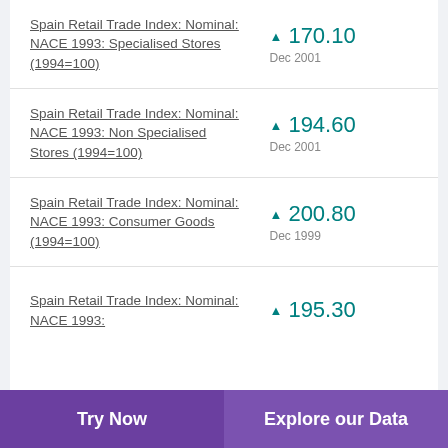Spain Retail Trade Index: Nominal: NACE 1993: Specialised Stores (1994=100)
Spain Retail Trade Index: Nominal: NACE 1993: Non Specialised Stores (1994=100)
Spain Retail Trade Index: Nominal: NACE 1993: Consumer Goods (1994=100)
Spain Retail Trade Index: Nominal: NACE 1993:
Try Now  |  Explore our Data